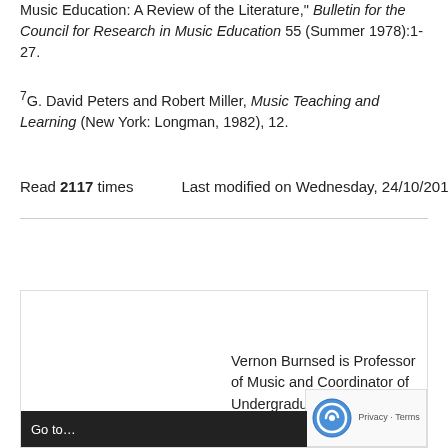Music Education: A Review of the Literature," Bulletin for the Council for Research in Music Education 55 (Summer 1978):1-27.
7G. David Peters and Robert Miller, Music Teaching and Learning (New York: Longman, 1982), 12.
Read 2117 times   Last modified on Wednesday, 24/10/2018
[Figure (other): Twitter Tweet button in blue rounded style]
Vernon Burnsed is Professor of Music and Coordinator of Undergraduate Studies in Music Education at Virginia Tech where he is the Director of the Virginia Tech S... Project, a stri...